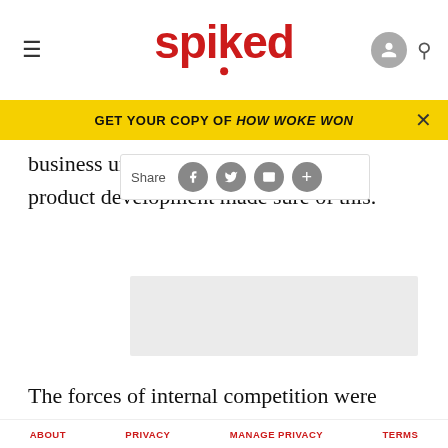spiked
GET YOUR COPY OF HOW WOKE WON
business units, tight budgets and product development made sure of this.
[Figure (other): Grey advertisement placeholder box]
The forces of internal competition were very much on the same scale as those at AOL Time Warner. Even then, Philips showed its disregard for convergence by selling off Polygram, its music arm, much as British
ABOUT   PRIVACY   MANAGE PRIVACY   TERMS